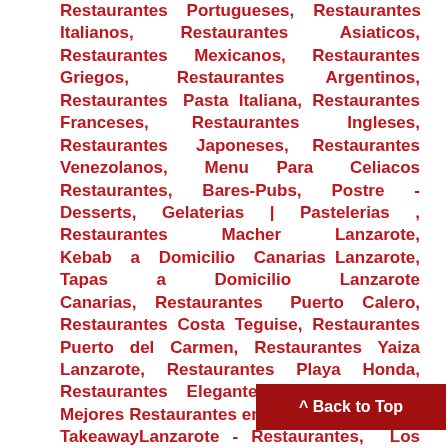Restaurantes Portugueses, Restaurantes Italianos, Restaurantes Asiaticos, Restaurantes Mexicanos, Restaurantes Griegos, Restaurantes Argentinos, Restaurantes Pasta Italiana, Restaurantes Franceses, Restaurantes Ingleses, Restaurantes Japoneses, Restaurantes Venezolanos, Menu Para Celiacos Restaurantes, Bares-Pubs, Postre - Desserts, Gelaterias | Pastelerias , Restaurantes Macher Lanzarote, Kebab a Domicilio Canarias Lanzarote, Tapas a Domicilio Lanzarote Canarias, Restaurantes Puerto Calero, Restaurantes Costa Teguise, Restaurantes Puerto del Carmen, Restaurantes Yaiza Lanzarote, Restaurantes Playa Honda, Restaurantes Elegantes Lanzarote, Los Mejores Restaurantes en Lanzarote, Allianza TakeawayLanzarote - Restaurantes, Los Mejores Restaurantes a Domicilio Lanzarote, Pizza a Domicilio Canarias Lanzarote, Hamburguesas a Domicilio Lanzarote, Donde Comer en Lanzarote